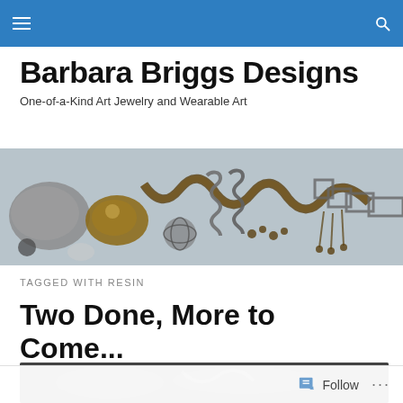Barbara Briggs Designs — navigation header with hamburger menu and search icon
Barbara Briggs Designs
One-of-a-Kind Art Jewelry and Wearable Art
[Figure (photo): Close-up photograph of assorted art jewelry pieces including beaded chains, wire work, springs, and mixed-media components in silver, gold, and bronze tones on a light background]
TAGGED WITH RESIN
Two Done, More to Come...
[Figure (photo): Partial view of a dark-toned jewelry photograph at the bottom of the page]
Follow